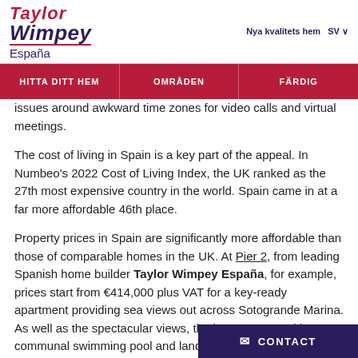Taylor Wimpey España | Nya kvalitets hem SV
HITTA DITT HEM   OMRÅDEN   FÄRDIG
issues around awkward time zones for video calls and virtual meetings.
The cost of living in Spain is a key part of the appeal. In Numbeo's 2022 Cost of Living Index, the UK ranked as the 27th most expensive country in the world. Spain came in at a far more affordable 46th place.
Property prices in Spain are significantly more affordable than those of comparable homes in the UK. At Pier 2, from leading Spanish home builder Taylor Wimpey España, for example, prices start from €414,000 plus VAT for a key-ready apartment providing sea views out across Sotogrande Marina. As well as the spectacular views, the homes come with a communal swimming pool and landscaped gardens.
All apartments Pier 2 also come with priv... superb access to local amenities, from s...